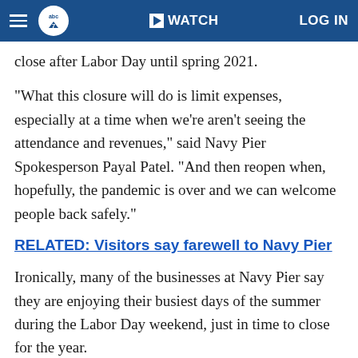abc7 | WATCH | LOG IN
close after Labor Day until spring 2021.
"What this closure will do is limit expenses, especially at a time when we're aren't seeing the attendance and revenues," said Navy Pier Spokesperson Payal Patel. "And then reopen when, hopefully, the pandemic is over and we can welcome people back safely."
RELATED: Visitors say farewell to Navy Pier
Ironically, many of the businesses at Navy Pier say they are enjoying their busiest days of the summer during the Labor Day weekend, just in time to close for the year.